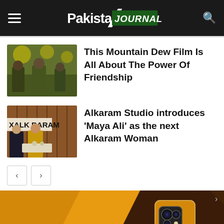Pakistani Journal
[Figure (screenshot): Thumbnail image of people in military/outdoor setting for Mountain Dew film article]
This Mountain Dew Film Is All About The Power Of Friendship
[Figure (screenshot): Thumbnail image of people at Alkaram Studio event with signage in background]
Alkaram Studio introduces 'Maya Ali' as the next Alkaram Woman
[Figure (photo): Large photo of a yellow smartphone (back view) on yellow and dark background]